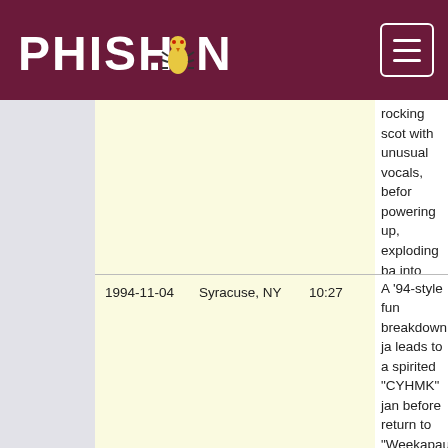PHISH.NET
| Date | Location | Duration | Notes |
| --- | --- | --- | --- |
|  |  |  | rocking scot with unusual vocals, before powering up, exploding back into "Weekapaug" and -> to "Yerushalayim Shel Zahav." |
| 1994-11-04 | Syracuse, NY | 10:27 | A '94-style funk breakdown jam leads to a spirited "CYHMK" jam before returning to "Weekapaug" for a high intensity peak with a great |